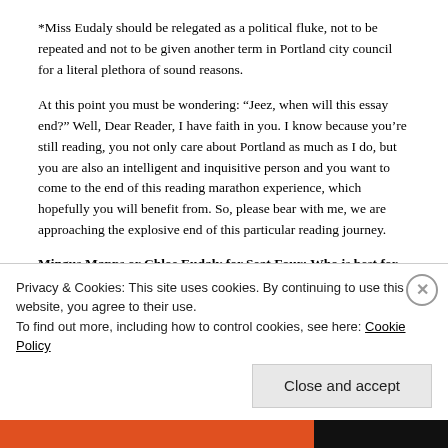*Miss Eudaly should be relegated as a political fluke, not to be repeated and not to be given another term in Portland city council for a literal plethora of sound reasons.
At this point you must be wondering: “Jeez, when will this essay end?” Well, Dear Reader, I have faith in you. I know because you’re still reading, you not only care about Portland as much as I do, but you are also an intelligent and inquisitive person and you want to come to the end of this reading marathon experience, which hopefully you will benefit from. So, please bear with me, we are approaching the explosive end of this particular reading journey.
Mingus Mapps or Chloe Eudaly for Seat Four: Who is best for Portland?
Privacy & Cookies: This site uses cookies. By continuing to use this website, you agree to their use.
To find out more, including how to control cookies, see here: Cookie Policy